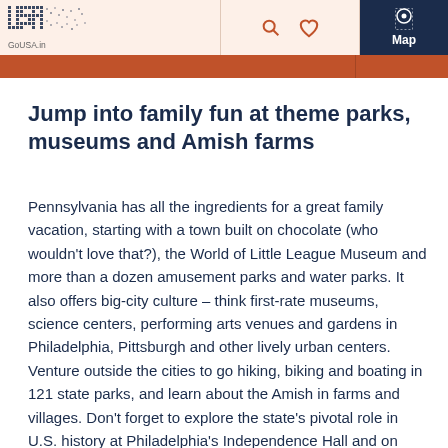GoUSA.in — navigation header with search, heart, menu icons and Map button
Jump into family fun at theme parks, museums and Amish farms
Pennsylvania has all the ingredients for a great family vacation, starting with a town built on chocolate (who wouldn't love that?), the World of Little League Museum and more than a dozen amusement parks and water parks. It also offers big-city culture – think first-rate museums, science centers, performing arts venues and gardens in Philadelphia, Pittsburgh and other lively urban centers. Venture outside the cities to go hiking, biking and boating in 121 state parks, and learn about the Amish in farms and villages. Don't forget to explore the state's pivotal role in U.S. history at Philadelphia's Independence Hall and on Gettysburg's battlefields.